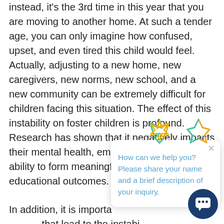Instead, it's the 3rd time in this year that you are moving to another home. At such a tender age, you can only imagine how confused, upset, and even tired this child would feel. Actually, adjusting to a new home, new caregivers, new norms, new school, and a new community can be extremely difficult for children facing this situation. The effect of this instability on foster children is profound. Research has shown that it negatively impacts their mental health, emotional well-being, ability to form meaningful relationships, and educational outcomes.
In addition, it is important to understand the factors that lead to the instability in foster care, for example, age, past trauma of the child, as well as lack of support to foster parents are some of the reasons that increase instability. To help provide hope for foster kids and their parents, it is important to provide them with holistic support so they can begin their journey toward healing and growth.
[Figure (screenshot): Chat widget overlay with a star logo icon, close button (x), and message text: 'How can we help you? Please share your name and a brief description of your inquiry.' with a dark blue circular chat button in the bottom right corner.]